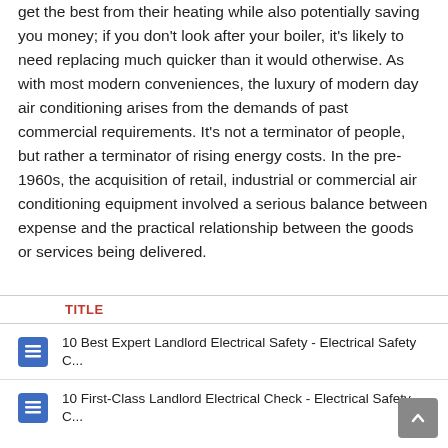get the best from their heating while also potentially saving you money; if you don't look after your boiler, it's likely to need replacing much quicker than it would otherwise. As with most modern conveniences, the luxury of modern day air conditioning arises from the demands of past commercial requirements. It's not a terminator of people, but rather a terminator of rising energy costs. In the pre-1960s, the acquisition of retail, industrial or commercial air conditioning equipment involved a serious balance between expense and the practical relationship between the goods or services being delivered.
| TITLE |
| --- |
| 10 Best Expert Landlord Electrical Safety - Electrical Safety C... |
| 10 First-Class Landlord Electrical Check - Electrical Safety C... |